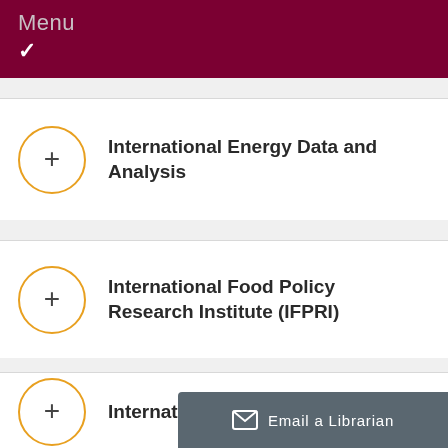Menu
International Energy Data and Analysis
International Food Policy Research Institute (IFPRI)
International
[Figure (screenshot): Email a Librarian button overlay at bottom right]